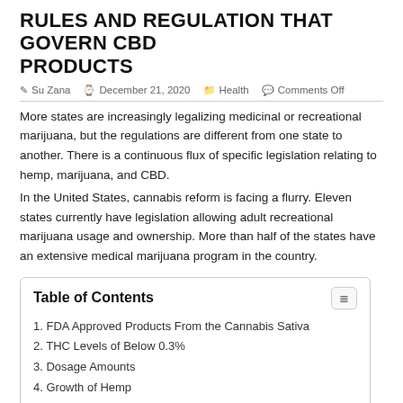RULES AND REGULATION THAT GOVERN CBD PRODUCTS
Su Zana  December 21, 2020  Health  Comments Off
More states are increasingly legalizing medicinal or recreational marijuana, but the regulations are different from one state to another. There is a continuous flux of specific legislation relating to hemp, marijuana, and CBD.
In the United States, cannabis reform is facing a flurry. Eleven states currently have legislation allowing adult recreational marijuana usage and ownership. More than half of the states have an extensive medical marijuana program in the country.
| Table of Contents |
| --- |
| 1. FDA Approved Products From the Cannabis Sativa |
| 2. THC Levels of Below 0.3% |
| 3. Dosage Amounts |
| 4. Growth of Hemp |
| 5. Certificate of Analysis (COA) |
| 6. Conclusion |